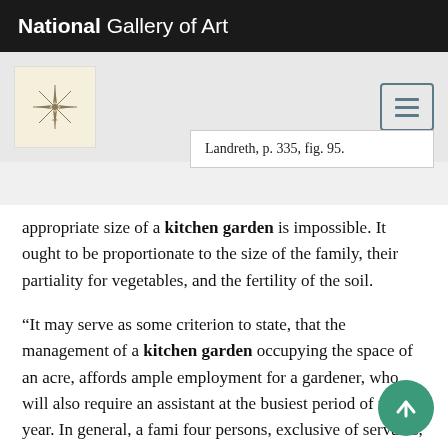National Gallery of Art
Landreth, p. 335, fig. 95.
appropriate size of a kitchen garden is impossible. It ought to be proportionate to the size of the family, their partiality for vegetables, and the fertility of the soil.
“It may serve as some criterion to state, that the management of a kitchen garden occupying the space of an acre, affords ample employment for a gardener, who will also require an assistant at the busiest period of the year. In general, a family of four persons, exclusive of servants, requires a full